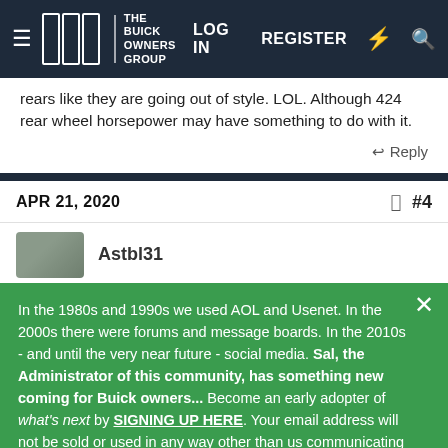THE BUICK OWNERS GROUP — LOG IN   REGISTER
rears like they are going out of style. LOL. Although 424 rear wheel horsepower may have something to do with it.
Reply
APR 21, 2020  #4
In the 1980s and 1990s we used AOL and Usenet. In the 2000s there were forums and message boards. In the 2010s - and until the very near future - social media. Sal, the Administrator of this community, has something new coming for Buick owners... Become an early adopter of what's next by SIGNING UP HERE. Your email address will not be sold or used in any way other than us communicating more details as we prepare for launch - and we will not communicate often.